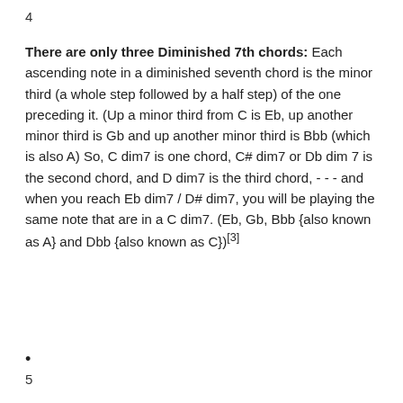4
There are only three Diminished 7th chords: Each ascending note in a diminished seventh chord is the minor third (a whole step followed by a half step) of the one preceding it. (Up a minor third from C is Eb, up another minor third is Gb and up another minor third is Bbb (which is also A) So, C dim7 is one chord, C# dim7 or Db dim 7 is the second chord, and D dim7 is the third chord, - - - and when you reach Eb dim7 / D# dim7, you will be playing the same note that are in a C dim7. (Eb, Gb, Bbb {also known as A} and Dbb {also known as C})[3]
•
5